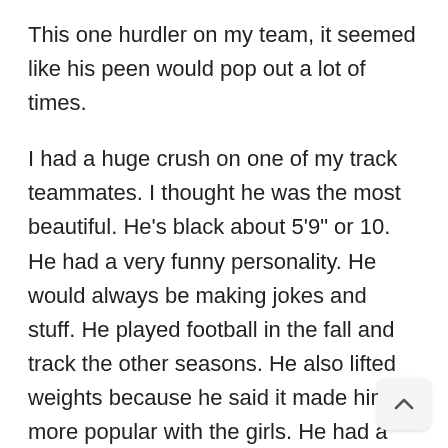This one hurdler on my team, it seemed like his peen would pop out a lot of times.
I had a huge crush on one of my track teammates. I thought he was the most beautiful. He's black about 5'9" or 10. He had a very funny personality. He would always be making jokes and stuff. He played football in the fall and track the other seasons. He also lifted weights because he said it made him more popular with the girls. He had a very nice body. A lot of muscle for a high school kid. We would hang out sometimes. Since we both were on the track team, I would occasionally get a few glimpses of him naked in the locker roo think he might have suspected of me. I he caught me a few times checking him out